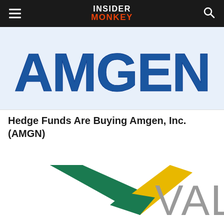INSIDER MONKEY
[Figure (logo): Amgen Inc. company logo — large blue bold letters spelling AMGEN on white background]
Hedge Funds Are Buying Amgen, Inc. (AMGN)
[Figure (logo): Vale S.A. company logo — green and yellow checkmark/bird shape on the left, grey VALE text on the right, on white background]